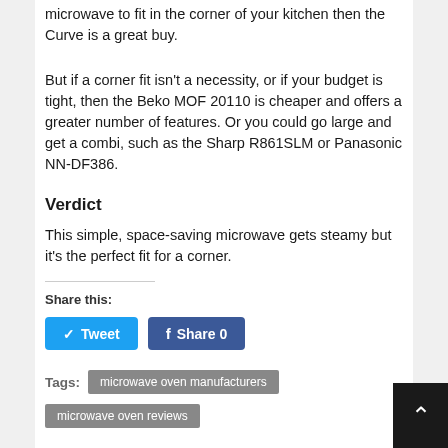microwave to fit in the corner of your kitchen then the Curve is a great buy.
But if a corner fit isn't a necessity, or if your budget is tight, then the Beko MOF 20110 is cheaper and offers a greater number of features. Or you could go large and get a combi, such as the Sharp R861SLM or Panasonic NN-DF386.
Verdict
This simple, space-saving microwave gets steamy but it's the perfect fit for a corner.
Share this:
Tweet
Share 0
Tags: microwave oven manufacturers microwave oven reviews